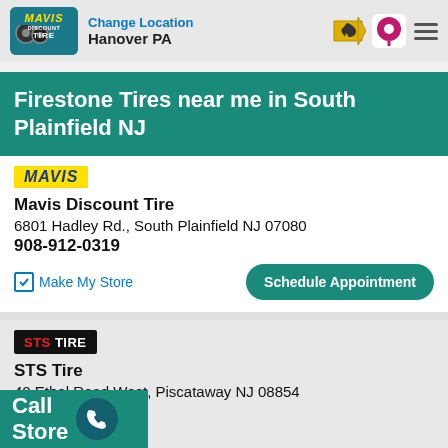Change Location Hanover PA
Firestone Tires near me in South Plainfield NJ
Mavis Discount Tire
6801 Hadley Rd., South Plainfield NJ 07080
908-912-0319
Make My Store | Schedule Appointment
STS Tire
40 Ethel Road West, Piscataway NJ 08854
732-941-3724
Make My Store | Schedule Appointment
Call Store